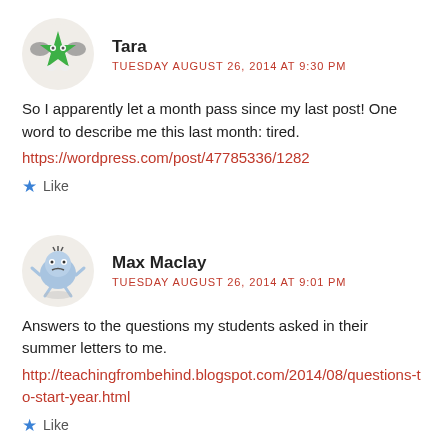Tara
TUESDAY AUGUST 26, 2014 AT 9:30 PM
So I apparently let a month pass since my last post! One word to describe me this last month: tired.
https://wordpress.com/post/47785336/1282
Like
Max Maclay
TUESDAY AUGUST 26, 2014 AT 9:01 PM
Answers to the questions my students asked in their summer letters to me.
http://teachingfrombehind.blogspot.com/2014/08/questions-to-start-year.html
Like